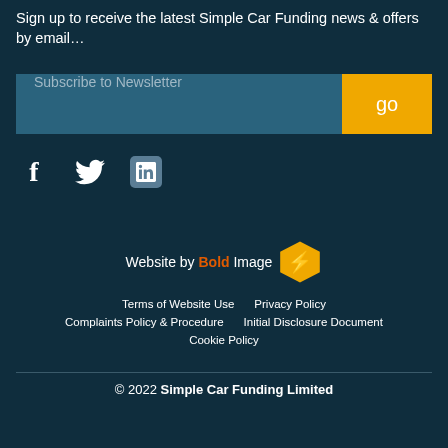Sign up to receive the latest Simple Car Funding news & offers by email…
[Figure (other): Newsletter subscription bar with teal input field placeholder 'Subscribe to Newsletter' and orange 'go' button]
[Figure (other): Social media icons: Facebook (f), Twitter (bird), LinkedIn (in)]
Website by Bold Image [Bold Image logo]
Terms of Website Use   Privacy Policy   Complaints Policy & Procedure   Initial Disclosure Document   Cookie Policy
© 2022 Simple Car Funding Limited